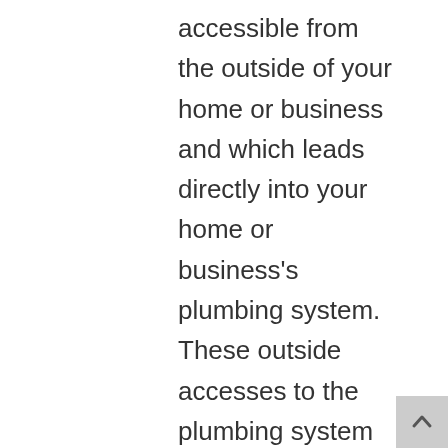accessible from the outside of your home or business and which leads directly into your home or business's plumbing system.  These outside accesses to the plumbing system provide an access point for plumbers to use various cleaning tools (including plumbing snakes) to maintain your plumbing or to clean it out in an emergency or  during a sewer repair. And the best thing?  With a Clean Out drain installed on the exterior of your home or business, you don't have to worry about the plumbers tracking through your home or business when